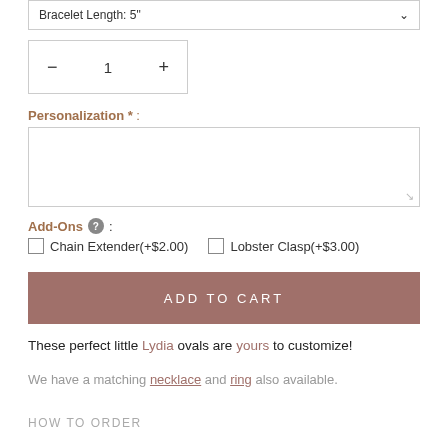Bracelet Length: 5"
— 1 +
Personalization * :
Add-Ons ? :
Chain Extender(+$2.00)   Lobster Clasp(+$3.00)
ADD TO CART
These perfect little Lydia ovals are yours to customize!
We have a matching necklace and ring also available.
HOW TO ORDER